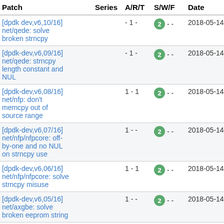| Patch | Series | A/R/T | S/W/F | Date | Subm |
| --- | --- | --- | --- | --- | --- |
| [dpdk dev,v6,10/16] net/qede: solve broken strncpy |  | - 1 - | 2 - - | 2018-05-14 | Andy Gree |
| [dpdk-dev,v6,09/16] net/qede: strncpy length constant and NUL |  | - 1 - | 2 - - | 2018-05-14 | Andy Gree |
| [dpdk-dev,v6,08/16] net/nfp: don't memcpy out of source range |  | 1 - 1 | 2 - - | 2018-05-14 | Andy Gree |
| [dpdk-dev,v6,07/16] net/nfp/nfpcore: off-by-one and no NUL on strncpy use |  | 1 - - | 2 - - | 2018-05-14 | Andy Gree |
| [dpdk-dev,v6,06/16] net/nfp/nfpcore: solve strncpy misuse |  | 1 - 1 | 2 - - | 2018-05-14 | Andy Gree |
| [dpdk-dev,v6,05/16] net/axgbe: solve broken eeprom string |  | 1 - - | 2 - - | 2018-05-14 | Andy Gree |